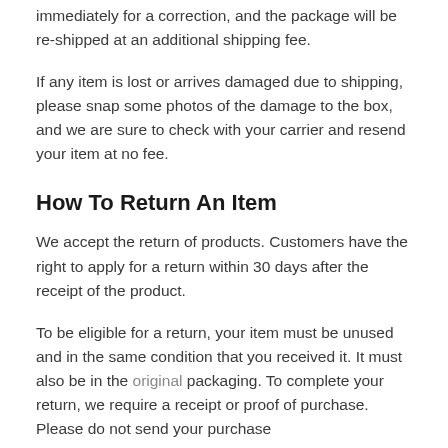immediately for a correction, and the package will be re-shipped at an additional shipping fee.
If any item is lost or arrives damaged due to shipping, please snap some photos of the damage to the box, and we are sure to check with your carrier and resend your item at no fee.
How To Return An Item
We accept the return of products. Customers have the right to apply for a return within 30 days after the receipt of the product.
To be eligible for a return, your item must be unused and in the same condition that you received it. It must also be in the original packaging. To complete your return, we require a receipt or proof of purchase. Please do not send your purchase